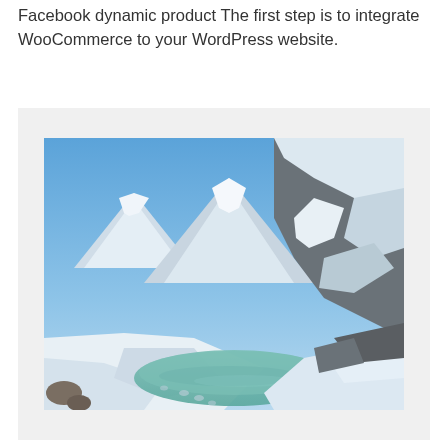Facebook dynamic product The first step is to integrate WooCommerce to your WordPress website.
[Figure (photo): A snowy mountain landscape with a turquoise glacial lake in the foreground, steep rocky snow-covered mountains in the background under a clear blue sky.]